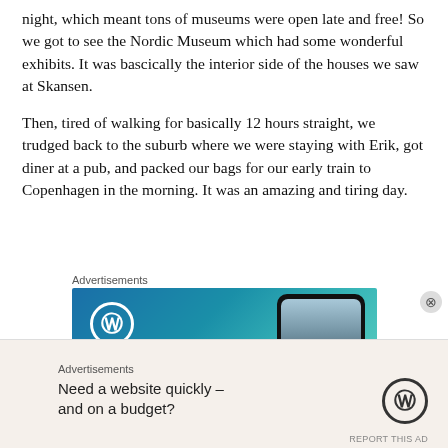night, which meant tons of museums were open late and free! So we got to see the Nordic Museum which had some wonderful exhibits. It was bascically the interior side of the houses we saw at Skansen.
Then, tired of walking for basically 12 hours straight, we trudged back to the suburb where we were staying with Erik, got diner at a pub, and packed our bags for our early train to Copenhagen in the morning. It was an amazing and tiring day.
Advertisements
[Figure (other): WordPress advertisement banner with blue/teal gradient background, WordPress circular logo on left, 'Create' text in bottom left, and a phone mockup on the right showing 'VISITING SKOGAFOSS' label.]
Advertisements
Need a website quickly – and on a budget?